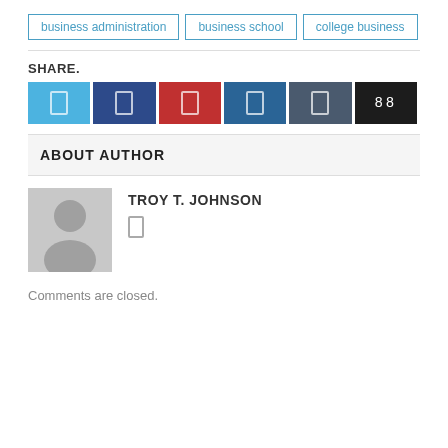business administration
business school
college business
SHARE.
[Figure (infographic): Row of six social share buttons: Twitter (light blue), Facebook (dark blue), Pinterest (red), LinkedIn (medium blue), WhatsApp (steel blue), and a share counter button (dark/black).]
ABOUT AUTHOR
TROY T. JOHNSON
Comments are closed.